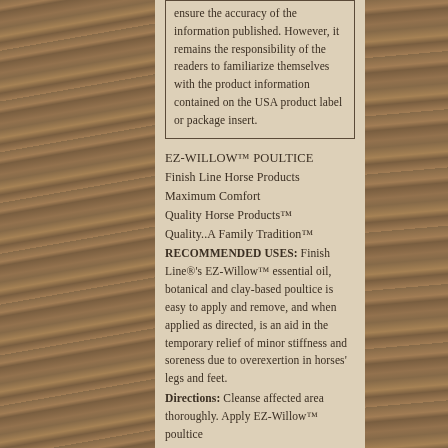ensure the accuracy of the information published. However, it remains the responsibility of the readers to familiarize themselves with the product information contained on the USA product label or package insert.
EZ-WILLOW™ POULTICE
Finish Line Horse Products
Maximum Comfort
Quality Horse Products™
Quality..A Family Tradition™
RECOMMENDED USES: Finish Line®'s EZ-Willow™ essential oil, botanical and clay-based poultice is easy to apply and remove, and when applied as directed, is an aid in the temporary relief of minor stiffness and soreness due to overexertion in horses' legs and feet.
Directions: Cleanse affected area thoroughly. Apply EZ-Willow™ poultice